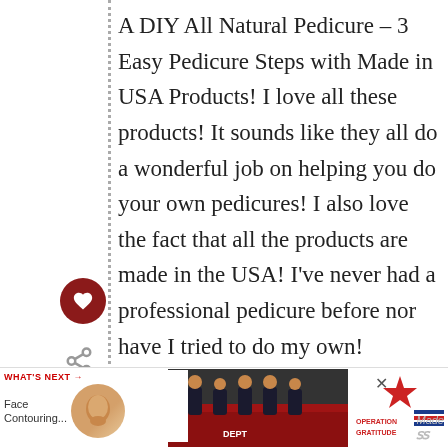A DIY All Natural Pedicure – 3 Easy Pedicure Steps with Made in USA Products! I love all these products! It sounds like they all do a wonderful job on helping you do your own pedicures! I also love the fact that all the products are made in the USA! I've never had a professional pedicure before nor have I tried to do my own! However, now that I've read your review, I think that I can do my own pedicure with the products you have shown! Thanks so much for sharing your fantastic the pictures, and your personal and professional opinions on A DIY All Natural
[Figure (screenshot): Website UI overlay showing a 'What's Next' navigation widget with a face contouring article thumbnail, and a heart/like button and share button on the left side]
[Figure (screenshot): Advertisement banner at the bottom showing a 'Thank you' image with a flag pencil, a photo of firefighters, and an Operation Gratitude logo]